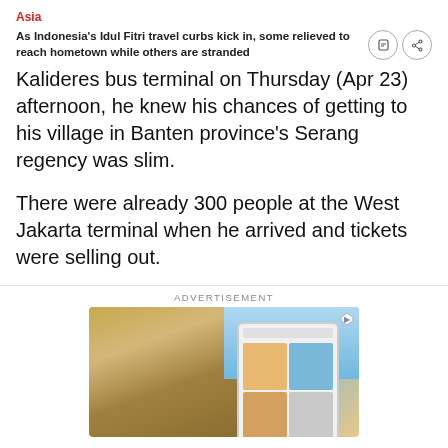Asia
As Indonesia's Idul Fitri travel curbs kick in, some relieved to reach hometown while others are stranded
Kalideres bus terminal on Thursday (Apr 23) afternoon, he knew his chances of getting to his village in Banten province's Serang regency was slim.
There were already 300 people at the West Jakarta terminal when he arrived and tickets were selling out.
ADVERTISEMENT
[Figure (photo): Advertisement image showing a woman with a hat using a tablet near a pool]